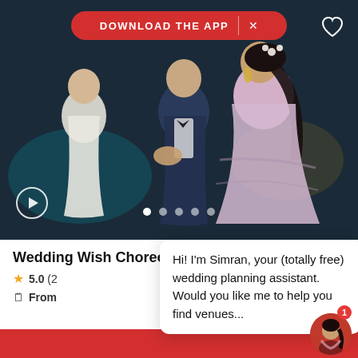[Figure (photo): Wedding couple dancing at a reception event with a performer in background. Man in dark blue suit, woman in light pink/lavender lehenga.]
DOWNLOAD THE APP
Wedding Wish Choreography Noida
5.0 (2
From
Hi! I'm Simran, your (totally free) wedding planning assistant. Would you like me to help you find venues...